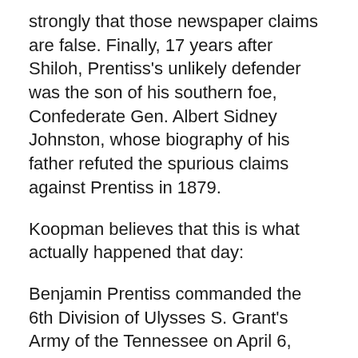strongly that those newspaper claims are false. Finally, 17 years after Shiloh, Prentiss's unlikely defender was the son of his southern foe, Confederate Gen. Albert Sidney Johnston, whose biography of his father refuted the spurious claims against Prentiss in 1879.
Koopman believes that this is what actually happened that day:
Benjamin Prentiss commanded the 6th Division of Ulysses S. Grant's Army of the Tennessee on April 6, 1862. Two brigades, a total of 5,400 men, were nearest the Confederate battle lines. Even though close at hand, the Union army was not fully aware that 44,000 Confederate soldiers of the Army